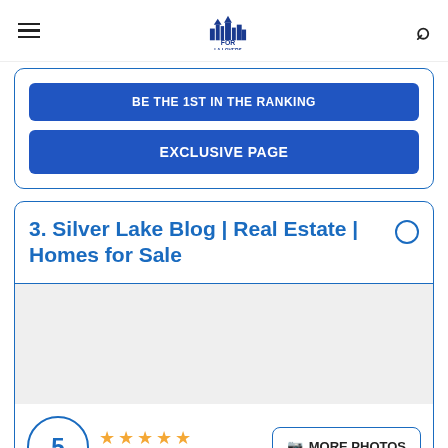FOR LA LOVERS
BE THE 1ST IN THE RANKING
EXCLUSIVE PAGE
3. Silver Lake Blog | Real Estate | Homes for Sale
[Figure (photo): Photo area placeholder for Silver Lake Blog listing]
5  ★★★★★  22 reviews  MORE PHOTOS